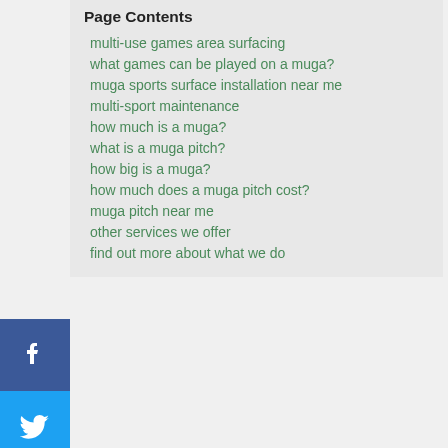Page Contents
multi-use games area surfacing
what games can be played on a muga?
muga sports surface installation near me
multi-sport maintenance
how much is a muga?
what is a muga pitch?
how big is a muga?
how much does a muga pitch cost?
muga pitch near me
other services we offer
find out more about what we do
Covering CR9 4
[Figure (other): Error state image showing a grey exclamation mark circle icon above the text 'Oops! Something went']